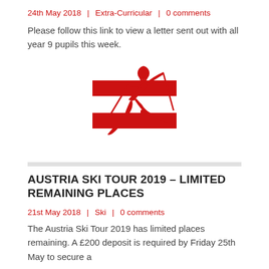24th May 2018 | Extra-Curricular | 0 comments
Please follow this link to view a letter sent out with all year 9 pupils this week.
[Figure (logo): Austria ski tour logo: red and white Austrian flag rectangle with red skier figure overlaid, skiing downhill with poles]
AUSTRIA SKI TOUR 2019 – LIMITED REMAINING PLACES
21st May 2018 | Ski | 0 comments
The Austria Ski Tour 2019 has limited places remaining. A £200 deposit is required by Friday 25th May to secure a